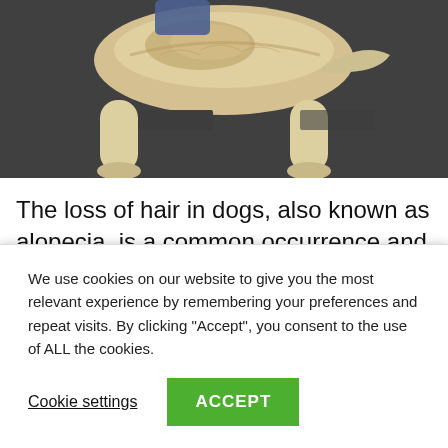[Figure (photo): A light-colored dog (appears to be a golden retriever or similar breed) photographed from above/behind, showing its back and hindquarters. The dog is standing on a dark speckled floor. The photo shows signs of hair loss or thinning on the dog's back.]
The loss of hair in dogs, also known as alopecia, is a common occurrence and does not necessarily point to an ailment. However, if the hair loss is too sudden and too rapid, there should be a cause for concern
We use cookies on our website to give you the most relevant experience by remembering your preferences and repeat visits. By clicking "Accept", you consent to the use of ALL the cookies.